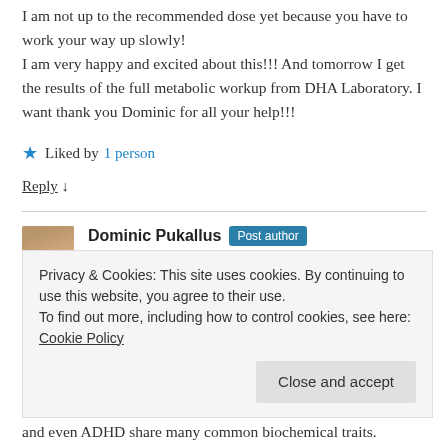I am not up to the recommended dose yet because you have to work your way up slowly!
I am very happy and excited about this!!! And tomorrow I get the results of the full metabolic workup from DHA Laboratory. I want thank you Dominic for all your help!!!
★ Liked by 1 person
Reply ↓
Dominic Pukallus Post author
March 2, 2018 at 8:58 am
Privacy & Cookies: This site uses cookies. By continuing to use this website, you agree to their use.
To find out more, including how to control cookies, see here: Cookie Policy
Close and accept
and even ADHD share many common biochemical traits.